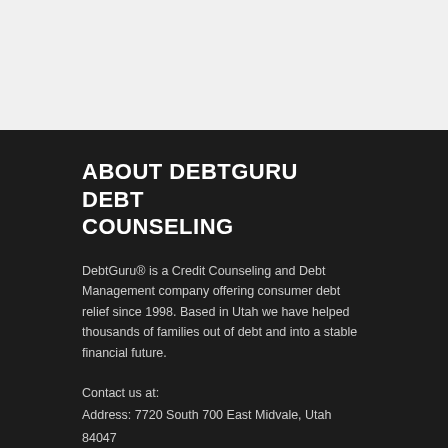ABOUT DEBTGURU DEBT COUNSELING
DebtGuru® is a Credit Counseling and Debt Management company offering consumer debt relief since 1998. Based in Utah we have helped thousands of families out of debt and into a stable financial future.
Contact us at:
Address: 7720 South 700 East Midvale, Utah 84047
Phone: 800-259-0601